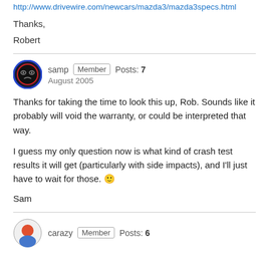http://www.drivewire.com/newcars/mazda3/mazda3specs.html
Thanks,
Robert
samp Member Posts: 7 August 2005
Thanks for taking the time to look this up, Rob. Sounds like it probably will void the warranty, or could be interpreted that way.
I guess my only question now is what kind of crash test results it will get (particularly with side impacts), and I'll just have to wait for those. 🙂
Sam
carazy Member Posts: 6